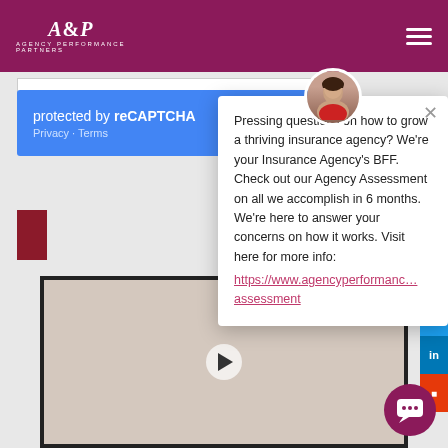Agency Performance Partners
protected by reCAPTCHA
Privacy · Terms
[Figure (screenshot): Website screenshot showing Agency Performance Partners page with reCAPTCHA, navigation header in maroon/purple, social sharing buttons, video thumbnail with woman presenter, and a chat popup widget.]
Pressing questions on how to grow a thriving insurance agency? We're your Insurance Agency's BFF. Check out our Agency Assessment on all we accomplish in 6 months. We're here to answer your concerns on how it works. Visit here for more info:
https://www.agencyperformanc… assessment